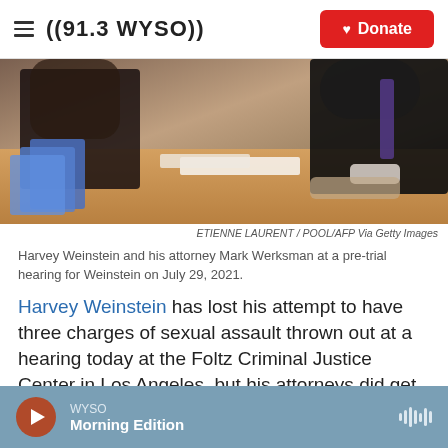((91.3 WYSO)) | Donate
[Figure (photo): Harvey Weinstein and his attorney Mark Werksman seated at a table at a pre-trial hearing, viewed from behind/side. Papers and blue folders visible on the table.]
ETIENNE LAURENT / POOL/AFP Via Getty Images
Harvey Weinstein and his attorney Mark Werksman at a pre-trial hearing for Weinstein on July 29, 2021.
Harvey Weinstein has lost his attempt to have three charges of sexual assault thrown out at a hearing today at the Foltz Criminal Justice Center in Los Angeles, but his attorneys did get the judge to agree that one of the charges should be amended
WYSO | Morning Edition